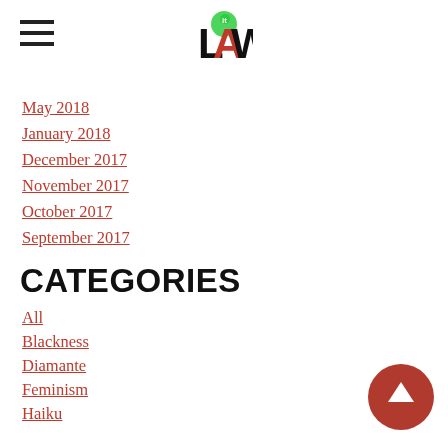[Figure (logo): LAW logo with green circle, red A, black L and W letters]
May 2018
January 2018
December 2017
November 2017
October 2017
September 2017
CATEGORIES
All
Blackness
Diamante
Feminism
Haiku
Inspiration
Journey
Life
Love